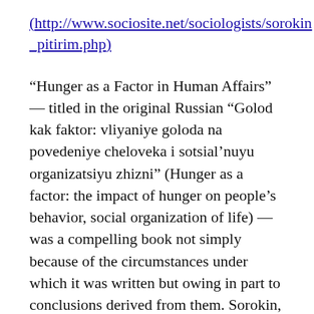(http://www.sociosite.net/sociologists/sorokin_pitirim.php)
“Hunger as a Factor in Human Affairs” — titled in the original Russian “Golod kak faktor: vliyaniye goloda na povedeniye cheloveka i sotsial’nuyu organizatsiyu zhizni” (Hunger as a factor: the impact of hunger on people’s behavior, social organization of life) — was a compelling book not simply because of the circumstances under which it was written but owing in part to conclusions derived from them. Sorokin, then a professor at the University of Leningrad, wrote it under conditions of great privation during the Russian famine. The book concludes with